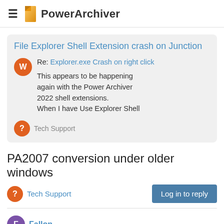PowerArchiver
File Explorer Shell Extension crash on Junction
Re: Explorer.exe Crash on right click
This appears to be happening again with the Power Archiver 2022 shell extensions.
When I have Use Explorer Shell
Tech Support
PA2007 conversion under older windows
Tech Support
Log in to reply
Fallon
Under win98se, conversion from RAR-archives to 7-Zip archives